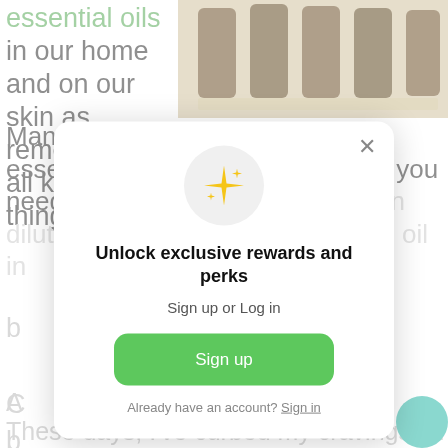[Figure (photo): Brown glass essential oil bottles on a white surface near a window]
essential oils in our home and on our skin as remedies for all kinds of things. Many times when you’re applying essential oils topically to the skin, you need a carrier oil, or an oil you can dilute the strength of the essential oil in before...
[Figure (screenshot): Modal popup with sparkle icon, title 'Unlock exclusive rewards and perks', subtitle 'Sign up or Log in', green Sign up button, and 'Already have an account? Sign in' footer]
Unlock exclusive rewards and perks
Sign up or Log in
Sign up
Already have an account? Sign in
These days, I’ve curbed my cravings for sugar, so...